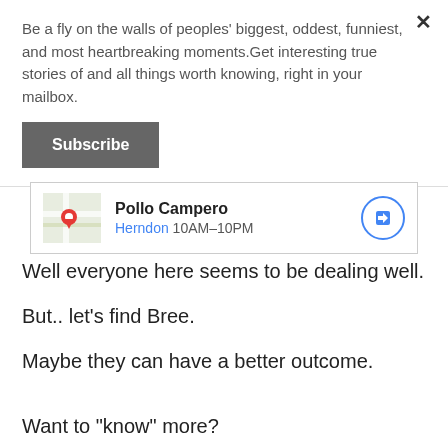Be a fly on the walls of peoples' biggest, oddest, funniest, and most heartbreaking moments.Get interesting true stories of and all things worth knowing, right in your mailbox.
Subscribe
[Figure (screenshot): Google Maps card showing Pollo Campero location in Herndon, open 10AM-10PM, with navigation arrow button]
Well everyone here seems to be dealing well.
But.. let's find Bree.
Maybe they can have a better outcome.
Want to "know" more?